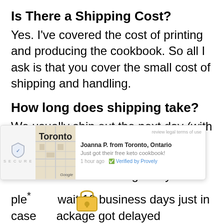Is There a Shipping Cost?
Yes. I've covered the cost of printing and producing the cookbook. So all I ask is that you cover the small cost of shipping and handling.
How long does shipping take?
We usually ship out the next day (with UPS or USPS) unless it's over a weekend or holiday. And it usually takes under a week to get to you if
[Figure (screenshot): Provely notification popup showing 'Joanna P. from Toronto, Ontario' with text 'Just got their free keto cookbook!' and '1 hour ago · Verified by Provely', with a Google Maps thumbnail of Toronto and a security badge on the left.]
ple* wait 10 business days just in case... ackage got delayed